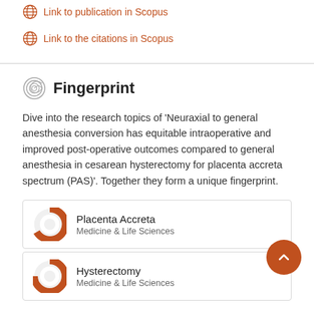Link to publication in Scopus
Link to the citations in Scopus
Fingerprint
Dive into the research topics of 'Neuraxial to general anesthesia conversion has equitable intraoperative and improved post-operative outcomes compared to general anesthesia in cesarean hysterectomy for placenta accreta spectrum (PAS)'. Together they form a unique fingerprint.
Placenta Accreta
Medicine & Life Sciences
Hysterectomy
Medicine & Life Sciences